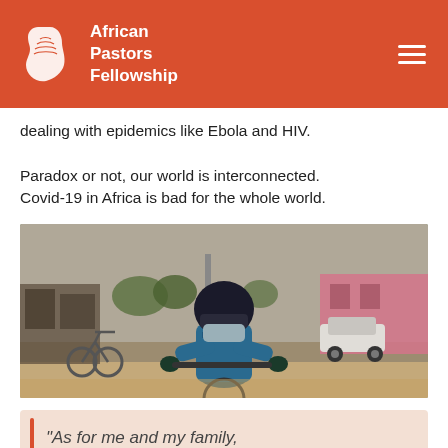African Pastors Fellowship
dealing with epidemics like Ebola and HIV.

Paradox or not, our world is interconnected. Covid-19 in Africa is bad for the whole world.
[Figure (photo): Person wearing a helmet and face mask riding a bicycle on a street in Africa, with shops and cars visible in the background.]
“As for me and my family,